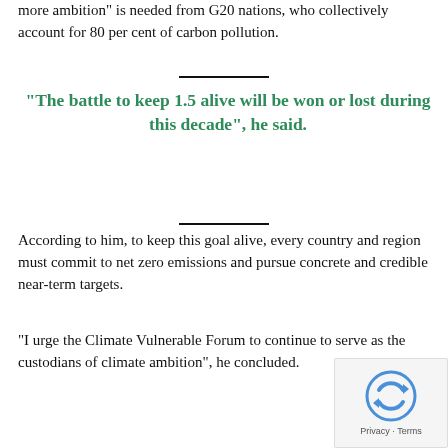more ambition” is needed from G20 nations, who collectively account for 80 per cent of carbon pollution.
“The battle to keep 1.5 alive will be won or lost during this decade”, he said.
According to him, to keep this goal alive, every country and region must commit to net zero emissions and pursue concrete and credible near-term targets.
“I urge the Climate Vulnerable Forum to continue to serve as the custodians of climate ambition”, he concluded.
[Figure (logo): reCAPTCHA Privacy - Terms badge]